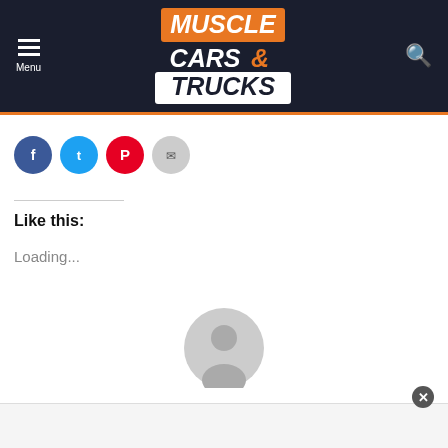Muscle Cars & Trucks
[Figure (logo): Muscle Cars & Trucks logo with orange and white text on dark navy background]
[Figure (infographic): Social share buttons: Facebook (blue circle), Twitter (light blue circle), Pinterest (red circle), Email (grey circle)]
Like this:
Loading...
[Figure (illustration): Default grey user avatar/profile icon circle]
Written by Zac M.
[Figure (other): Advertisement strip at bottom of page with close button]